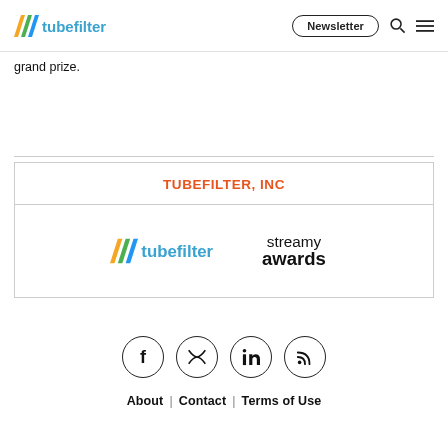tubefilter | Newsletter
grand prize.
[Figure (logo): TUBEFILTER, INC box containing the tubefilter logo and streamy awards logo side by side]
[Figure (infographic): Social media icons row: Facebook, Twitter, LinkedIn, RSS — each in a circle]
About | Contact | Terms of Use